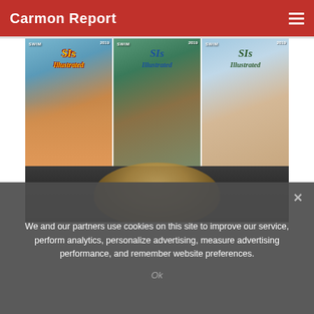Carmon Report
[Figure (photo): Three Sports Illustrated Swimsuit 2019 magazine covers side by side, each featuring a different model in swimwear against beach backgrounds. Below the covers is a partial dark photo showing a blonde person.]
We and our partners use cookies on this site to improve our service, perform analytics, personalize advertising, measure advertising performance, and remember website preferences.
Ok